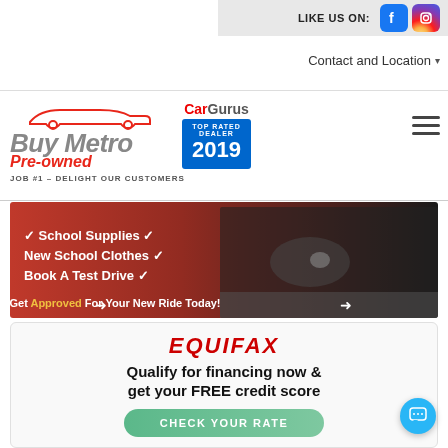LIKE US ON:  [Facebook] [Instagram]
Contact and Location ▼
[Figure (logo): Buy Metro Pre-owned logo with red car outline silhouette and CarGurus Top Rated Dealer 2019 badge]
JOB #1 – DELIGHT OUR CUSTOMERS
[Figure (photo): Promotional banner showing a black SUV on a road with back-to-school checklist items (School Supplies, New School Clothes, Book A Test Drive) and text: Get Approved For Your New Ride Today!]
[Figure (logo): Equifax logo in red italic bold uppercase letters]
Qualify for financing now & get your FREE credit score
CHECK YOUR RATE